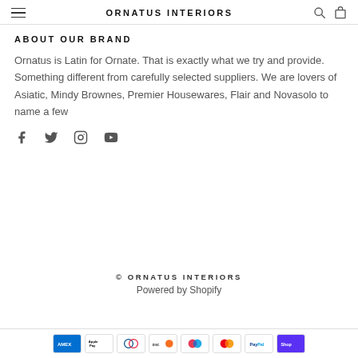ORNATUS INTERIORS
ABOUT OUR BRAND
Ornatus is Latin for Ornate. That is exactly what we try and provide. Something different from carefully selected suppliers. We are lovers of Asiatic, Mindy Brownes, Premier Housewares, Flair and Novasolo to name a few
[Figure (infographic): Social media icons row: Facebook, Twitter, Instagram, YouTube]
© ORNATUS INTERIORS
Powered by Shopify
[Figure (infographic): Payment method icons row: American Express, Apple Pay, Diners, Discover, Maestro, Mastercard, PayPal, Shop Pay]